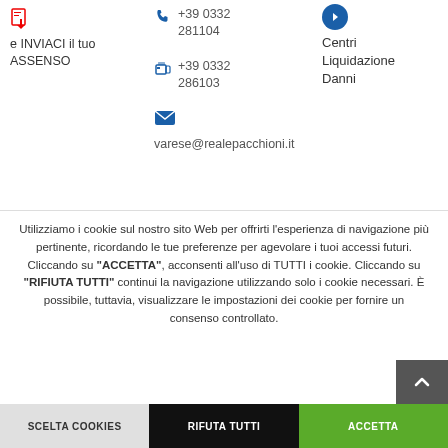e INVIACI il tuo ASSENSO
+39 0332 281104
+39 0332 286103
varese@realepacchioni.it
Centri Liquidazione Danni
Utilizziamo i cookie sul nostro sito Web per offrirti l'esperienza di navigazione più pertinente, ricordando le tue preferenze per agevolare i tuoi accessi futuri. Cliccando su "ACCETTA", acconsenti all'uso di TUTTI i cookie. Cliccando su "RIFIUTA TUTTI" continui la navigazione utilizzando solo i cookie necessari. È possibile, tuttavia, visualizzare le impostazioni dei cookie per fornire un consenso controllato.
SCELTA COOKIES
RIFUTA TUTTI
ACCETTA